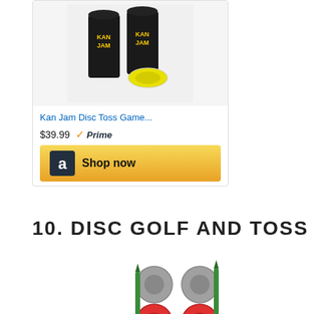[Figure (photo): Kan Jam disc toss game product image showing two black cylinders and a yellow disc]
Kan Jam Disc Toss Game...
$39.99  Prime
[Figure (logo): Amazon Shop now button with Amazon logo]
10. DISC GOLF AND TOSS
[Figure (photo): Disc golf set with two basket targets and four discs (two grey, two red)]